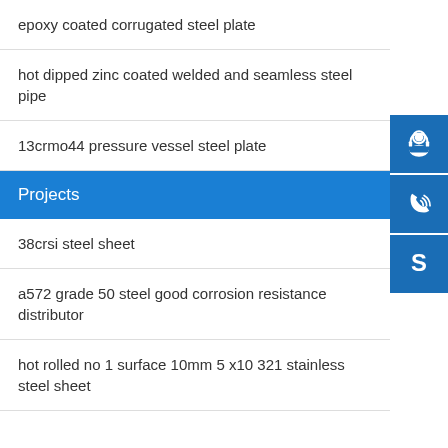epoxy coated corrugated steel plate
hot dipped zinc coated welded and seamless steel pipe
13crmo44 pressure vessel steel plate
Projects
38crsi steel sheet
a572 grade 50 steel good corrosion resistance distributor
hot rolled no 1 surface 10mm 5 x10 321 stainless steel sheet